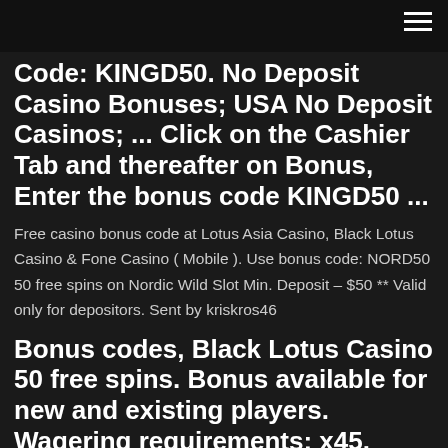Code: KINGD50. No Deposit Casino Bonuses; USA No Deposit Casinos; ... Click on the Cashier Tab and thereafter on Bonus, Enter the bonus code KINGD50 ...
Free casino bonus code at Lotus Asia Casino, Black Lotus Casino & Fone Casino ( Mobile ). Use bonus code: NORD50 50 free spins on Nordic Wild Slot Min. Deposit – $50 ** Valid only for depositors. Sent by kriskros46
Bonus codes, Black Lotus Casino 50 free spins. Bonus available for new and existing players. Wagering requirements: x45. Games allowed: Vikingdom slot.